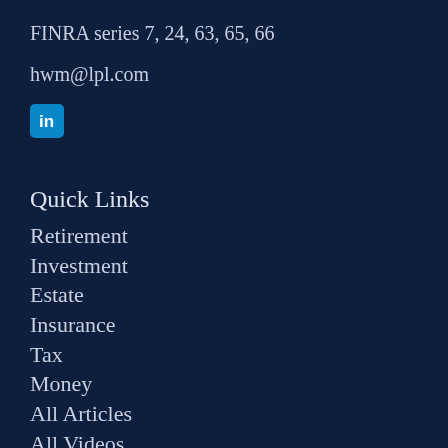FINRA series 7, 24, 63, 65, 66
hwm@lpl.com
[Figure (logo): LinkedIn logo icon — blue rounded square with white 'in' text]
Quick Links
Retirement
Investment
Estate
Insurance
Tax
Money
All Articles
All Videos
All Calculators
All Presentations